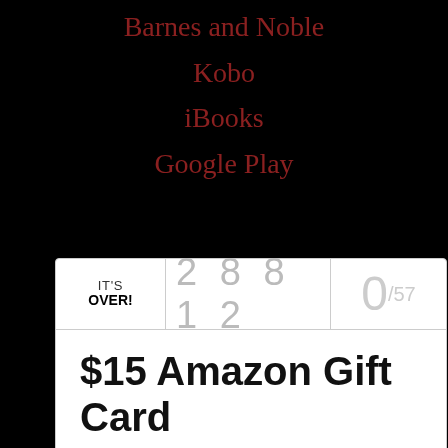Barnes and Noble
Kobo
iBooks
Google Play
| Status | Number | Counter |
| --- | --- | --- |
| IT'S OVER! | 2 8 8 1 2 | 0/57 |
$15 Amazon Gift Card
[Figure (photo): Dark rectangular image placeholder at bottom]